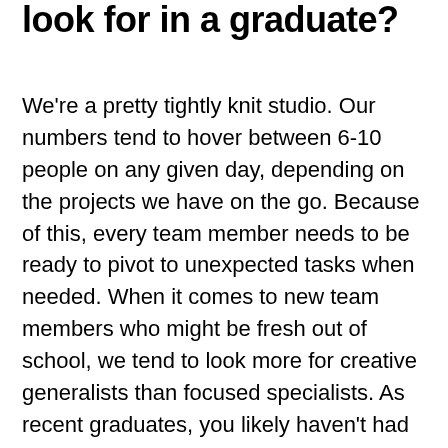look for in a graduate?
We're a pretty tightly knit studio. Our numbers tend to hover between 6-10 people on any given day, depending on the projects we have on the go. Because of this, every team member needs to be ready to pivot to unexpected tasks when needed. When it comes to new team members who might be fresh out of school, we tend to look more for creative generalists than focused specialists. As recent graduates, you likely haven't had enough time yet to develop multiple skill sets to the level you'd feel fully comfortable applying to a client project. But as an intern or